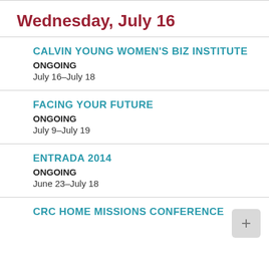Wednesday, July 16
CALVIN YOUNG WOMEN'S BIZ INSTITUTE
ONGOING
July 16–July 18
FACING YOUR FUTURE
ONGOING
July 9–July 19
ENTRADA 2014
ONGOING
June 23–July 18
CRC HOME MISSIONS CONFERENCE